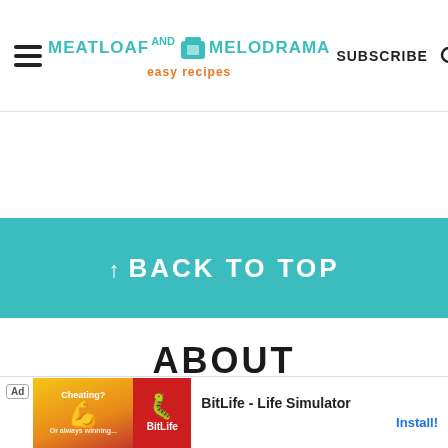MEATLOAF AND MELODRAMA easy recipes | SUBSCRIBE
↑ BACK TO TOP
ABOUT
ALL ABOUT DEE
PRIVACY POLICY
[Figure (screenshot): Ad banner for BitLife - Life Simulator app with cheating-themed graphic and install button]